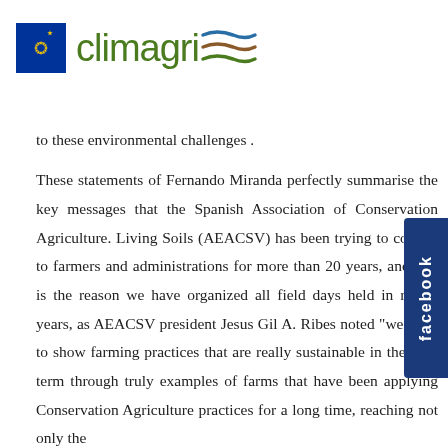[Figure (logo): Climagri logo with EU flag star circle on the left and green 'climagri' text with stylized wave lines on the right]
to these environmental challenges .
These statements of Fernando Miranda perfectly summarise the key messages that the Spanish Association of Conservation Agriculture. Living Soils (AEACSV) has been trying to convey to farmers and administrations for more than 20 years, and that is the reason we have organized all field days held in recent years, as AEACSV president Jesus Gil A. Ribes noted "we want to show farming practices that are really sustainable in the long term through truly examples of farms that have been applying Conservation Agriculture practices for a long time, reaching not only the